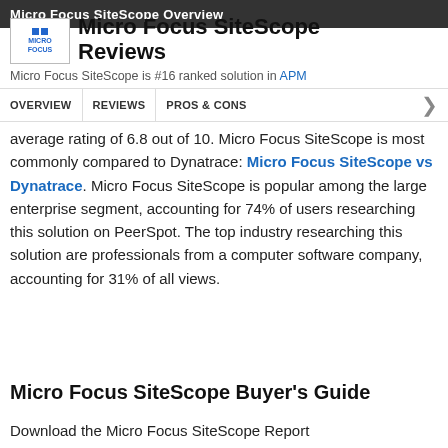Micro Focus SiteScope Overview
Micro Focus SiteScope Reviews
Micro Focus SiteScope is #16 ranked solution in APM tools. PeerSpot users give Micro Focus SiteScope an average rating of 6.8 out of 10. Micro Focus SiteScope is most commonly compared to Dynatrace: Micro Focus SiteScope vs Dynatrace. Micro Focus SiteScope is popular among the large enterprise segment, accounting for 74% of users researching this solution on PeerSpot. The top industry researching this solution are professionals from a computer software company, accounting for 31% of all views.
Micro Focus SiteScope Buyer's Guide
Download the Micro Focus SiteScope Report